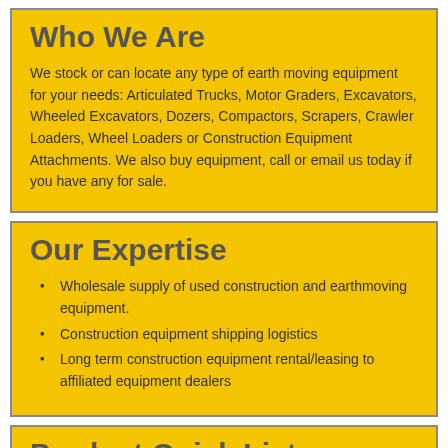Who We Are
We stock or can locate any type of earth moving equipment for your needs: Articulated Trucks, Motor Graders, Excavators, Wheeled Excavators, Dozers, Compactors, Scrapers, Crawler Loaders, Wheel Loaders or Construction Equipment Attachments. We also buy equipment, call or email us today if you have any for sale.
Our Expertise
Wholesale supply of used construction and earthmoving equipment.
Construction equipment shipping logistics
Long term construction equipment rental/leasing to affiliated equipment dealers
Product Quick List